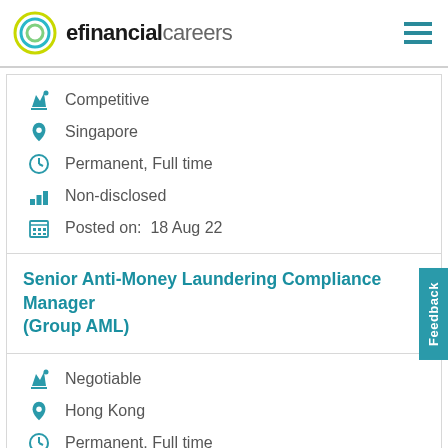efinancialcareers
Competitive
Singapore
Permanent, Full time
Non-disclosed
Posted on:  18 Aug 22
Senior Anti-Money Laundering Compliance Manager (Group AML)
Negotiable
Hong Kong
Permanent, Full time
Non-disclosed
Posted on:  15 Aug 22